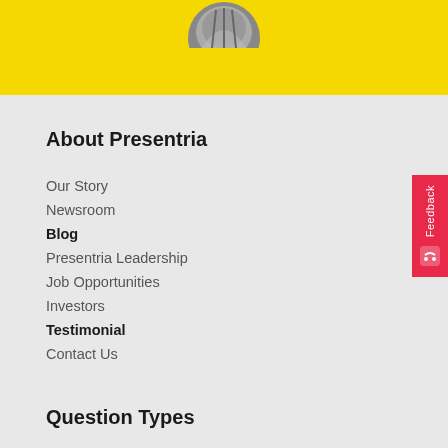[Figure (photo): Partial circular photo of a person at the top of the yellow banner area]
About Presentria
Our Story
Newsroom
Blog
Presentria Leadership
Job Opportunities
Investors
Testimonial
Contact Us
Question Types